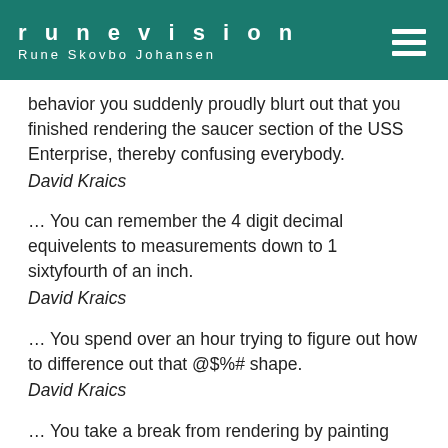runevision
Rune Skovbo Johansen
behavior you suddenly proudly blurt out that you finished rendering the saucer section of the USS Enterprise, thereby confusing everybody.
David Kraics
… You can remember the 4 digit decimal equivelents to measurements down to 1 sixtyfourth of an inch.
David Kraics
… You spend over an hour trying to figure out how to difference out that @$%# shape.
David Kraics
… You take a break from rendering by painting your ceiling black at 2 AM.
David Kraics